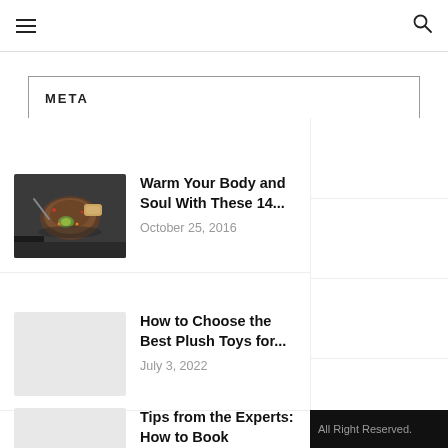≡  🔍
META
READ ALSO
Warm Your Body and Soul With These 14...
October 25, 2016
How to Choose the Best Plush Toys for...
July 3, 2022
Tips from the Experts: How to Book Flexible...
October 20, 2021
All Right Reserved.